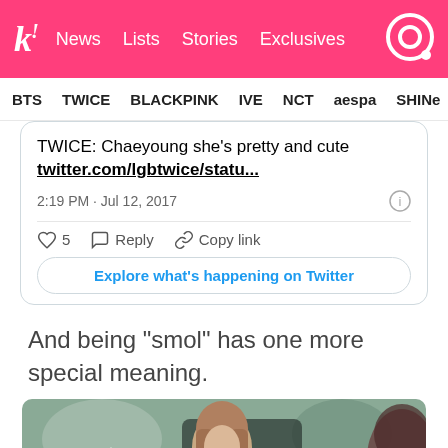k! News  Lists  Stories  Exclusives
BTS  TWICE  BLACKPINK  IVE  NCT  aespa  SHINee
[Figure (screenshot): Embedded tweet showing text: TWICE: Chaeyoung she's pretty and cute twitter.com/lgbtwice/statu... posted at 2:19 PM · Jul 12, 2017 with 5 likes, Reply, Copy link, and Explore what's happening on Twitter button]
And being “smol” has one more special meaning.
[Figure (photo): Photo of a young woman with long brown hair outdoors, partially cropped, with another person visible on the right edge]